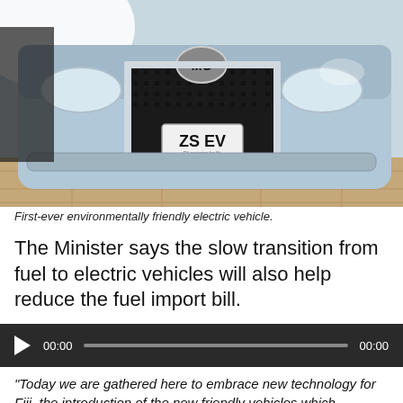[Figure (photo): Close-up photo of the front grille and bumper of a light blue MG electric vehicle with a number plate reading 'ZS EV', indoors on a tiled floor.]
First-ever environmentally friendly electric vehicle.
The Minister says the slow transition from fuel to electric vehicles will also help reduce the fuel import bill.
[Figure (other): Audio player bar showing 00:00 start time and 00:00 end time with a play button and progress bar on a dark background.]
“Today we are gathered here to embrace new technology for Fiji, the introduction of the new friendly vehicles which